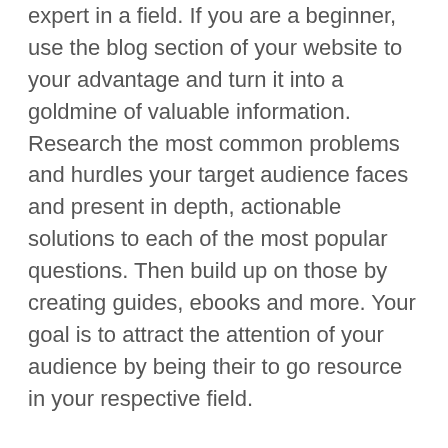expert in a field. If you are a beginner, use the blog section of your website to your advantage and turn it into a goldmine of valuable information. Research the most common problems and hurdles your target audience faces and present in depth, actionable solutions to each of the most popular questions. Then build up on those by creating guides, ebooks and more. Your goal is to attract the attention of your audience by being their to go resource in your respective field.